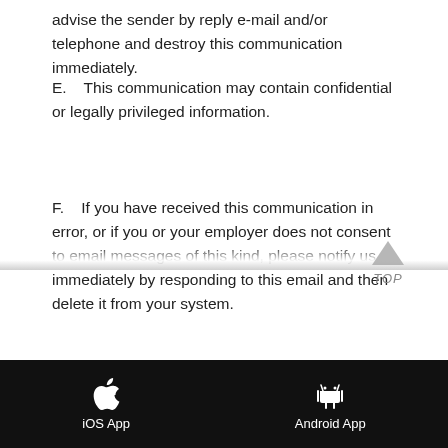advise the sender by reply e-mail and/or telephone and destroy this communication immediately.
E.    This communication may contain confidential or legally privileged information.
F.    If you have received this communication in error, or if you or your employer does not consent to email messages of this kind, please notify us immediately by responding to this email and then delete it from your system.
G.   No liability is accepted for any harm that may be caused to your systems or data by this message.
iOS App   Android App